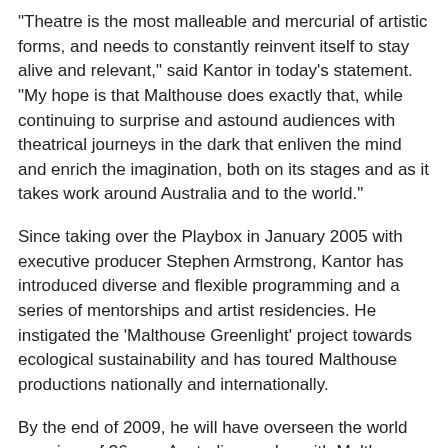"Theatre is the most malleable and mercurial of artistic forms, and needs to constantly reinvent itself to stay alive and relevant," said Kantor in today's statement. "My hope is that Malthouse does exactly that, while continuing to surprise and astound audiences with theatrical journeys in the dark that enliven the mind and enrich the imagination, both on its stages and as it takes work around Australia and to the world."
Since taking over the Playbox in January 2005 with executive producer Stephen Armstrong, Kantor has introduced diverse and flexible programming and a series of mentorships and artist residencies. He instigated the 'Malthouse Greenlight' project towards ecological sustainability and has toured Malthouse productions nationally and internationally.
By the end of 2009, he will have overseen the world premiere of 36 new Australian works, with Malthouse productions playing to over 250,000 patrons in Melbourne, and many more in 25 seasons in Sydney, Adelaide, Perth, Canberra, Brisbane, Auckland, Vienna, Amsterdam, Kuala